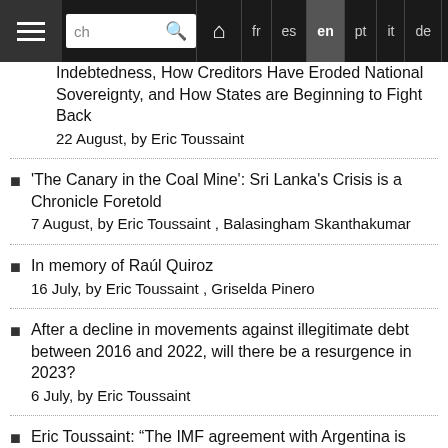Navigation bar with search, home, and language options: fr, es, en (active), pt, it, de, Arabic
Indebtedness, How Creditors Have Eroded National Sovereignty, and How States are Beginning to Fight Back
22 August, by Eric Toussaint
'The Canary in the Coal Mine': Sri Lanka's Crisis is a Chronicle Foretold
7 August, by Eric Toussaint , Balasingham Skanthakumar
In memory of Raúl Quiroz
16 July, by Eric Toussaint , Griselda Pinero
After a decline in movements against illegitimate debt between 2016 and 2022, will there be a resurgence in 2023?
6 July, by Eric Toussaint
Eric Toussaint: “The IMF agreement with Argentina is perversely sophisticated”
15 June, by Eric Toussaint , Martín Mosquera